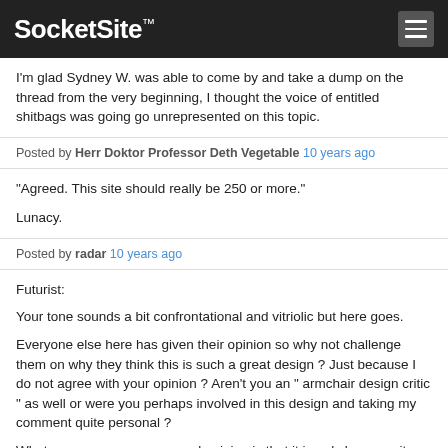SocketSite™
I'm glad Sydney W. was able to come by and take a dump on the thread from the very beginning, I thought the voice of entitled shitbags was going go unrepresented on this topic.
Posted by Herr Doktor Professor Deth Vegetable 10 years ago
"Agreed. This site should really be 250 or more."

Lunacy.
Posted by radar 10 years ago
Futurist:

Your tone sounds a bit confrontational and vitriolic but here goes.

Everyone else here has given their opinion so why not challenge them on why they think this is such a great design ? Just because I do not agree with your opinion ? Aren't you an " armchair design critic " as well or were you perhaps involved in this design and taking my comment quite personal ?

Whatever…………my personal opinion is that it is ugly because it